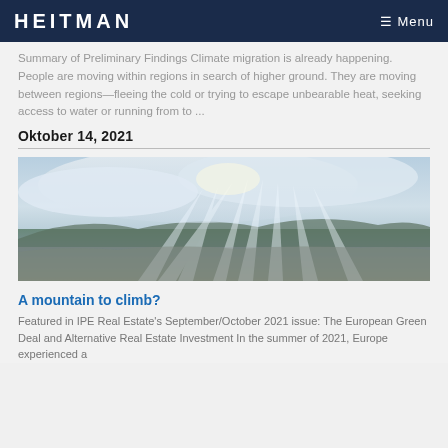HEITMAN   Menu
Summary of Preliminary Findings Climate migration is already happening. People are moving within regions in search of higher ground. They are moving between regions—fleeing the cold or trying to escape unbearable heat, seeking access to water or running from to ...
Oktober 14, 2021
[Figure (photo): Aerial cityscape with dramatic rays of light breaking through clouds over a sprawling urban area with hills in the background.]
A mountain to climb?
Featured in IPE Real Estate's September/October 2021 issue: The European Green Deal and Alternative Real Estate Investment In the summer of 2021, Europe experienced a